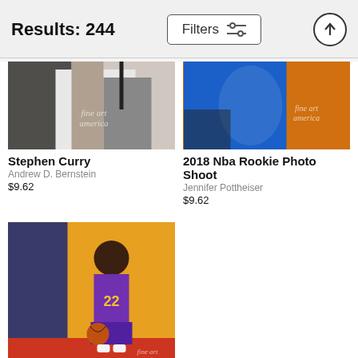Results: 244
Filters
[Figure (photo): Cropped photo of Stephen Curry, basketball player, partial body shot in white uniform]
Stephen Curry
Andrew D. Bernstein
$9.62
[Figure (photo): 2018 NBA Rookie Photo Shoot, player in blue uniform with orange background]
2018 Nba Rookie Photo Shoot
Jennifer Pottheiser
$9.62
[Figure (photo): 2018 NBA Rookie Photo Shoot, player in Phoenix Suns purple jersey #22, holding basketball, yellow and grey background]
2018 Nba Rookie ...
Jennifer Pottheiser
$9.62
Jakob Poeltl
Jesse D. Garrabrant
$9.62